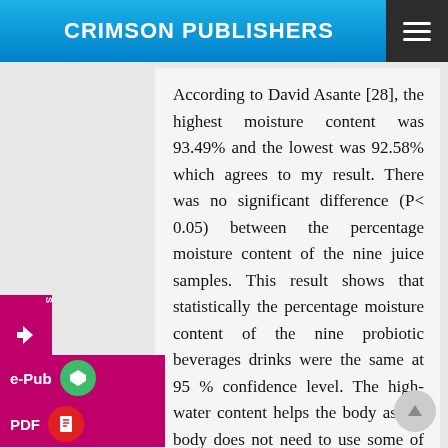CRIMSON PUBLISHERS
According to David Asante [28], the highest moisture content was 93.49% and the lowest was 92.58% which agrees to my result. There was no significant difference (P< 0.05) between the percentage moisture content of the nine juice samples. This result shows that statistically the percentage moisture content of the nine probiotic beverages drinks were the same at 95 % confidence level. The high-water content helps the body as the body does not need to use some of its own water to digest them. This means that the body uses less energy and resources to